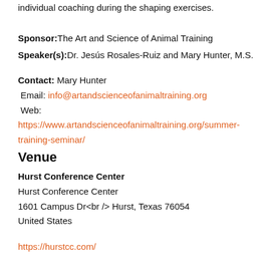individual coaching during the shaping exercises.
Sponsor: The Art and Science of Animal Training
Speaker(s): Dr. Jesús Rosales-Ruiz and Mary Hunter, M.S.
Contact: Mary Hunter
Email: info@artandscienceofanimaltraining.org
Web:
https://www.artandscienceofanimaltraining.org/summer-training-seminar/
Venue
Hurst Conference Center
Hurst Conference Center
1601 Campus Dr<br /> Hurst, Texas 76054
United States
https://hurstcc.com/